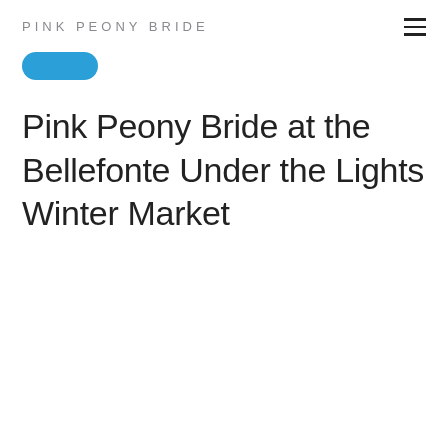PINK PEONY BRIDE
[Figure (other): Blue rounded button/badge element]
Pink Peony Bride at the Bellefonte Under the Lights Winter Market